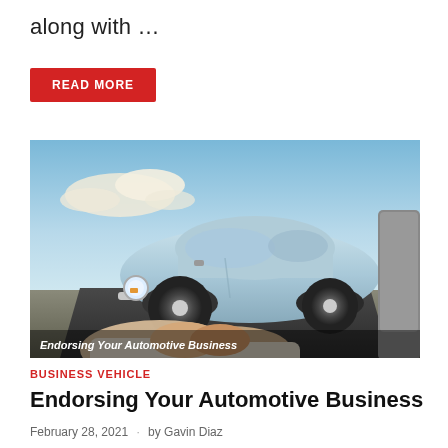along with …
READ MORE
[Figure (photo): A classic light blue Volkswagen Beetle photographed on a road under a partly cloudy blue sky, with two people shaking hands visible in the foreground. Text overlay reads: Endorsing Your Automotive Business]
Endorsing Your Automotive Business
BUSINESS VEHICLE
Endorsing Your Automotive Business
February 28, 2021 · by Gavin Diaz